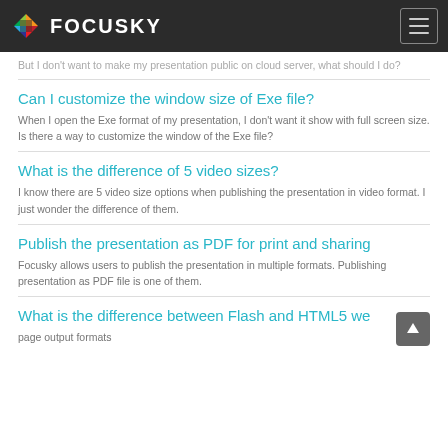FOCUSKY
But I don't want to make my presentation public on cloud server, what should I do?
Can I customize the window size of Exe file?
When I open the Exe format of my presentation, I don't want it show with full screen size. Is there a way to customize the window of the Exe file?
What is the difference of 5 video sizes?
I know there are 5 video size options when publishing the presentation in video format. I just wonder the difference of them.
Publish the presentation as PDF for print and sharing
Focusky allows users to publish the presentation in multiple formats. Publishing presentation as PDF file is one of them.
What is the difference between Flash and HTML5 web page output formats